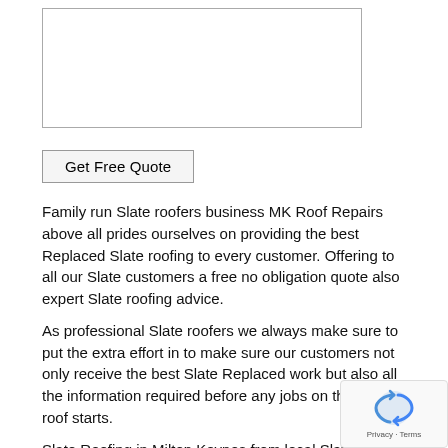[Figure (screenshot): A textarea input box for user text entry]
Get Free Quote
Family run Slate roofers business MK Roof Repairs above all prides ourselves on providing the best Replaced Slate roofing to every customer. Offering to all our Slate customers a free no obligation quote also expert Slate roofing advice.
As professional Slate roofers we always make sure to put the extra effort in to make sure our customers not only receive the best Slate Replaced work but also all the information required before any jobs on their Slate roof starts.
Slate Roofing in Milton Keynes from local Slate roofers at unbeatable balcony roofing Replaced prices.
Slate Roofing Replaced by Local Roofer MK